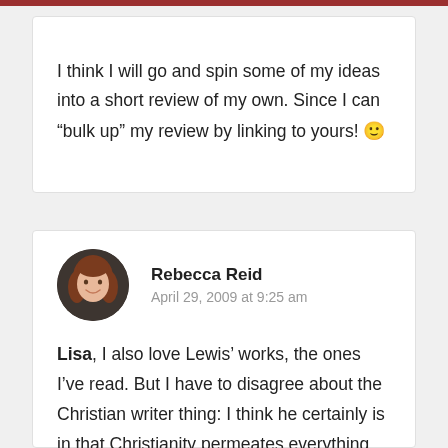I think I will go and spin some of my ideas into a short review of my own. Since I can “bulk up” my review by linking to yours! 🙂
Rebecca Reid
April 29, 2009 at 9:25 am
Lisa, I also love Lewis’ works, the ones I’ve read. But I have to disagree about the Christian writer thing: I think he certainly is in that Christianity permeates everything he writes (at least that I’ve read). You can enjoy the fiction